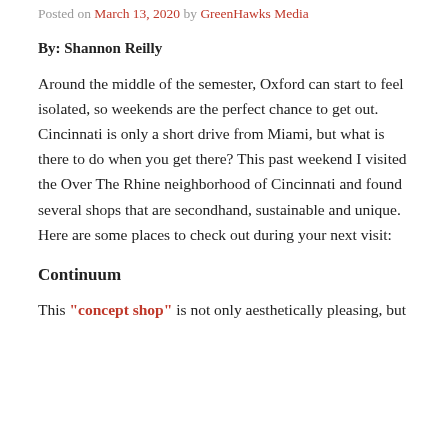Posted on March 13, 2020 by GreenHawks Media
By: Shannon Reilly
Around the middle of the semester, Oxford can start to feel isolated, so weekends are the perfect chance to get out. Cincinnati is only a short drive from Miami, but what is there to do when you get there? This past weekend I visited the Over The Rhine neighborhood of Cincinnati and found several shops that are secondhand, sustainable and unique. Here are some places to check out during your next visit:
Continuum
This "concept shop" is not only aesthetically pleasing, but